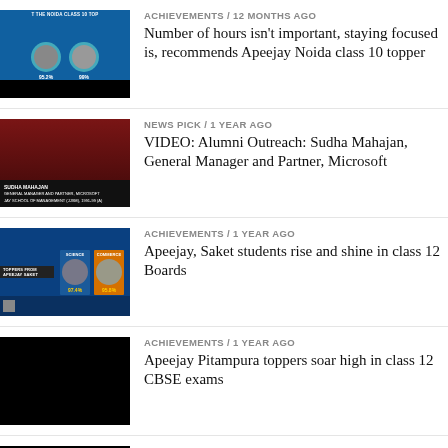[Figure (photo): Thumbnail image showing Apeejay Noida class 10 toppers with student photos and scores on blue background]
ACHIEVEMENTS / 12 months ago
Number of hours isn't important, staying focused is, recommends Apeejay Noida class 10 topper
[Figure (photo): Thumbnail of Sudha Mahajan, woman on red background with name label]
NEWS PICK / 1 year ago
VIDEO: Alumni Outreach: Sudha Mahajan, General Manager and Partner, Microsoft
[Figure (photo): Thumbnail showing Apeejay Saket toppers with student photos and scores, blue background]
ACHIEVEMENTS / 1 year ago
Apeejay, Saket students rise and shine in class 12 Boards
[Figure (photo): Black thumbnail image for Apeejay Pitampura toppers article]
ACHIEVEMENTS / 1 year ago
Apeejay Pitampura toppers soar high in class 12 CBSE exams
[Figure (photo): Black thumbnail image for time management article]
ACHIEVEMENTS / 1 year ago
Time management, social media ban, mental toughness: success mantras from top scorers at Apeejay School...